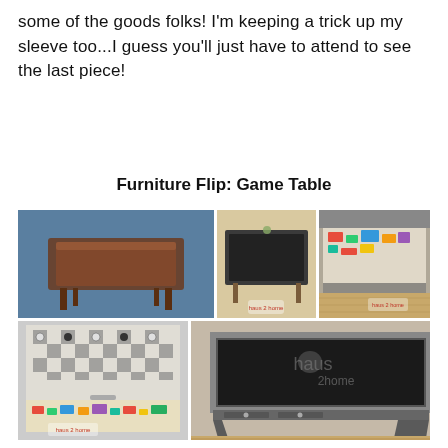some of the goods folks! I'm keeping a trick up my sleeve too...I guess you'll just have to attend to see the last piece!
Furniture Flip: Game Table
[Figure (photo): A collage of 5 photos showing a game table furniture flip project: before photo of an old wooden table, after photo with chalkboard top, drawer with LEGO storage open, angled view of drawer storage, and main after shot showing the finished gray painted table with chalkboard top and drawers, branded with haus2home watermark.]